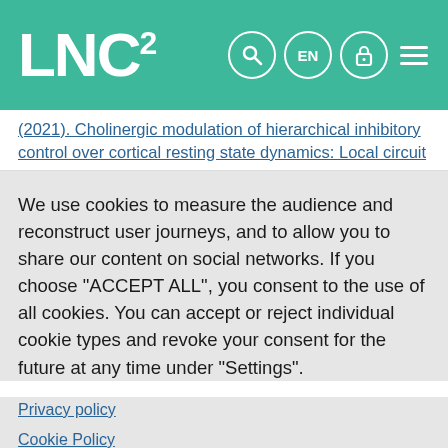LNC²
(2021). Cholinergic modulation of hierarchical inhibitory control over cortical resting state dynamics: Local circuit
We use cookies to measure the audience and reconstruct user journeys, and to allow you to share our content on social networks. If you choose "ACCEPT ALL", you consent to the use of all cookies. You can accept or reject individual cookie types and revoke your consent for the future at any time under "Settings".
Privacy policy
Cookie Policy